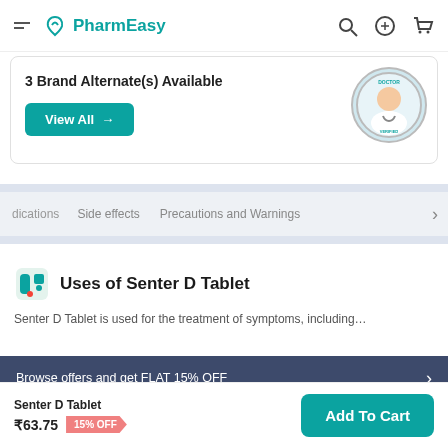PharmEasy
3 Brand Alternate(s) Available
View All →
dications   Side effects   Precautions and Warnings
Uses of Senter D Tablet
Browse offers and get FLAT 15% OFF
Senter D Tablet
₹63.75  15% OFF
Add To Cart